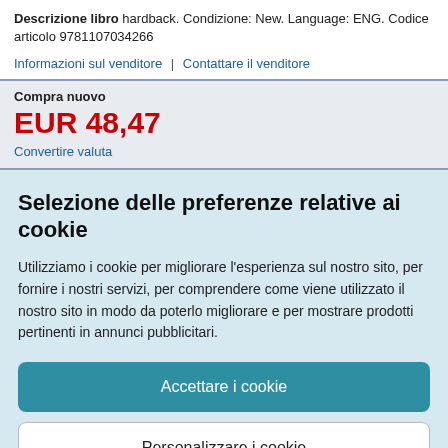Descrizione libro hardback. Condizione: New. Language: ENG. Codice articolo 9781107034266
Informazioni sul venditore | Contattare il venditore
Compra nuovo
EUR 48,47
Convertire valuta
Selezione delle preferenze relative ai cookie
Utilizziamo i cookie per migliorare l'esperienza sul nostro sito, per fornire i nostri servizi, per comprendere come viene utilizzato il nostro sito in modo da poterlo migliorare e per mostrare prodotti pertinenti in annunci pubblicitari.
Accettare i cookie
Personalizzare i cookie